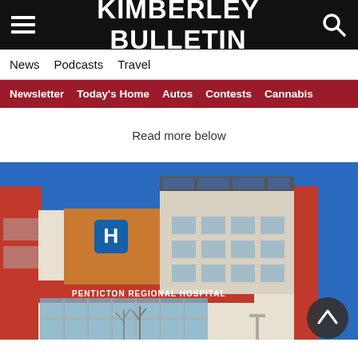KIMBERLEY BULLETIN
News   Podcasts   Travel
Newsletter   Today's Home   Autos   Contests   Cannabis
Read more below
[Figure (photo): Exterior photo of Penticton Regional Hospital building with red facade, orange wood cladding, blue H hospital sign, and solar panels on roof against a blue sky]